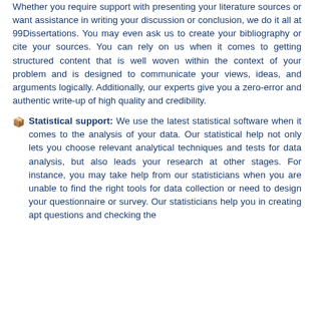Whether you require support with presenting your literature sources or want assistance in writing your discussion or conclusion, we do it all at 99Dissertations. You may even ask us to create your bibliography or cite your sources. You can rely on us when it comes to getting structured content that is well woven within the context of your problem and is designed to communicate your views, ideas, and arguments logically. Additionally, our experts give you a zero-error and authentic write-up of high quality and credibility.
Statistical support: We use the latest statistical software when it comes to the analysis of your data. Our statistical help not only lets you choose relevant analytical techniques and tests for data analysis, but also leads your research at other stages. For instance, you may take help from our statisticians when you are unable to find the right tools for data collection or need to design your questionnaire or survey. Our statisticians help you in creating apt questions and checking the